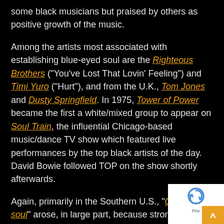some black musicians but praised by others as positive growth of the music.
Among the artists most associated with establishing blue-eyed soul are the Righteous Brothers ("You've Lost That Lovin' Feeling") and Timi Yuro ("Hurt"), and from the U.K., Tom Jones and Dusty Springfield. In 1975, Tower of Power became the first a white/mixed group to appear on Soul Train, the influential Chicago-based music/dance TV show which featured live performances by the top black artists of the day. David Bowie followed TOP on the show shortly afterwards.
Again, primarily in the Southern U.S., "Country soul" arose, in large part, because strong religious beliefs made gospel highly influential to both blacks and whites, and musical mixing was more likely to take place in the South than other areas of America.